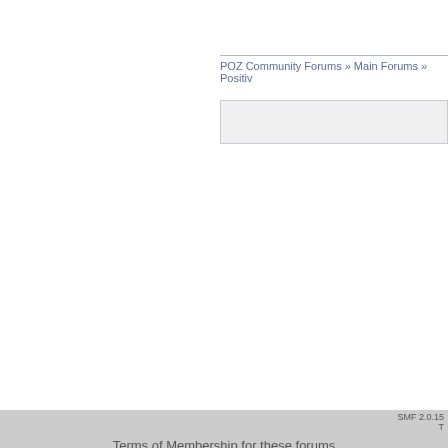POZ Community Forums » Main Forums » Positive
SMF 2.0.15
Terms of Membership for these forums
[Figure (logo): Lambda Legal advertisement banner with logo on dark blue background and green panel with text: HIV positive? Know your r...]
© 2022 Smart + Strong. All Rights Reserved. terms of use and your privacy Smart + Strong® is a registered trademark of CDM Publishing, LLC.